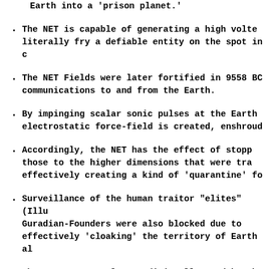Earth into a 'prison planet.'
The NET is capable of generating a high volta... literally fry a defiable entity on the spot in c...
The NET Fields were later fortified in 9558 BC... communications to and from the Earth.
By impinging scalar sonic pulses at the Earth... electrostatic force-field is created, enshroud...
Accordingly, the NET has the effect of stopp... those to the higher dimensions that were tra... effectively creating a kind of 'quarantine' fo...
Surveillance of the human traitor "elites" (Illu... Guradian-Founders were also blocked due to... effectively 'cloaking' the territory of Earth al...
These NETs were also traditionally used by th... (Consciousness Wiping) humanity via their 'Fa...